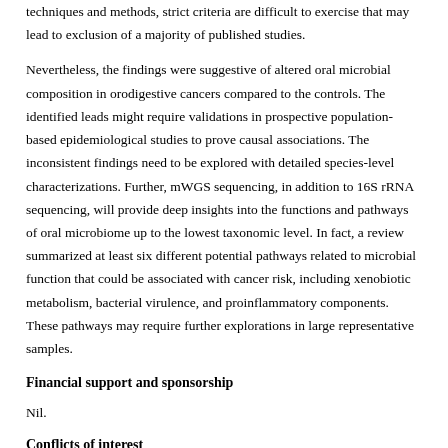techniques and methods, strict criteria are difficult to exercise that may lead to exclusion of a majority of published studies.
Nevertheless, the findings were suggestive of altered oral microbial composition in orodigestive cancers compared to the controls. The identified leads might require validations in prospective population-based epidemiological studies to prove causal associations. The inconsistent findings need to be explored with detailed species-level characterizations. Further, mWGS sequencing, in addition to 16S rRNA sequencing, will provide deep insights into the functions and pathways of oral microbiome up to the lowest taxonomic level. In fact, a review summarized at least six different potential pathways related to microbial function that could be associated with cancer risk, including xenobiotic metabolism, bacterial virulence, and proinflammatory components. These pathways may require further explorations in large representative samples.
Financial support and sponsorship
Nil.
Conflicts of interest
There are no conflicts of interest.